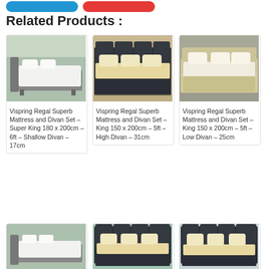Related Products :
[Figure (photo): Vispring Regal Superb Mattress and Divan Set on grey frame, light blue-green background]
Vispring Regal Superb Mattress and Divan Set – Super King 180 x 200cm – 6ft – Shallow Divan – 17cm
[Figure (photo): Vispring Regal Superb Mattress and Divan Set on dark charcoal divan, neutral background]
Vispring Regal Superb Mattress and Divan Set – King 150 x 200cm – 5ft – High Divan – 31cm
[Figure (photo): Vispring Regal Superb Mattress and Divan Set in cream/champagne, grey background]
Vispring Regal Superb Mattress and Divan Set – King 150 x 200cm – 5ft – Low Divan – 25cm
[Figure (photo): Vispring Regal Superb bed on grey frame, teal background]
[Figure (photo): Vispring Regal Superb on dark divan, teal background]
[Figure (photo): Vispring Regal Superb on dark charcoal divan, light background]